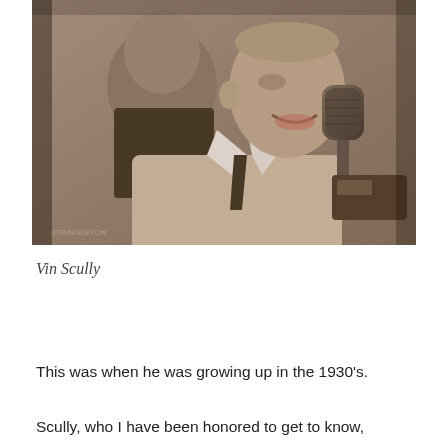[Figure (photo): Black and white vintage photograph of two men. In the foreground, a man in a light-colored suit jacket sits at a microphone. Another man is visible in the background, slightly out of focus. The scene appears to be a broadcast or radio setting. A small watermark text is visible in the lower left corner of the photo.]
Vin Scully
This was when he was growing up in the 1930's.
Scully, who I have been honored to get to know,